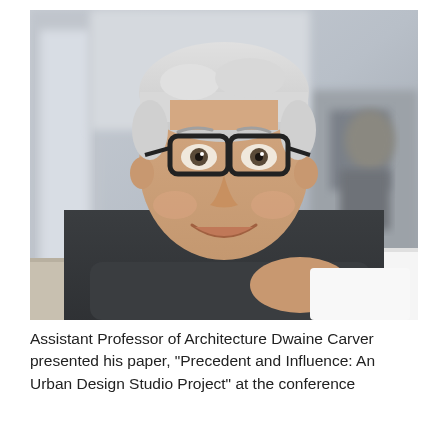[Figure (photo): Portrait photograph of a smiling older man with short grey-white hair, wearing dark-rimmed glasses and a dark grey sweater over a light blue collared shirt, leaning forward with arms resting on a surface, in a bright indoor setting with blurred background.]
Assistant Professor of Architecture Dwaine Carver presented his paper, "Precedent and Influence: An Urban Design Studio Project" at the conference